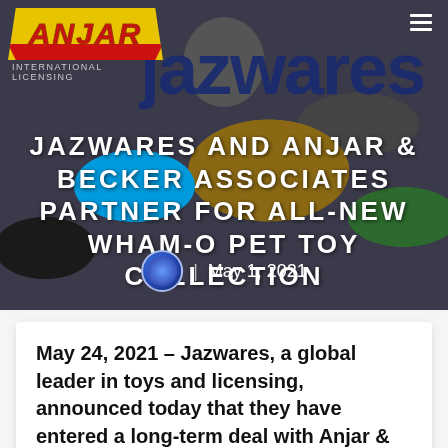[Figure (screenshot): Hero banner with Jazwares logo and Wham-O button/badge background image, featuring ANJAR INTERNATIONAL LICENSING logo top-left and hamburger menu icon top-right]
JAZWARES AND ANJAR & BECKER ASSOCIATES PARTNER FOR ALL-NEW WHAM-O PET TOY COLLECTION
| May 1, 2021
May 24, 2021 – Jazwares, a global leader in toys and licensing, announced today that they have entered a long-term deal with Anjar & Becker Associates and Wham-O to produce an all-new